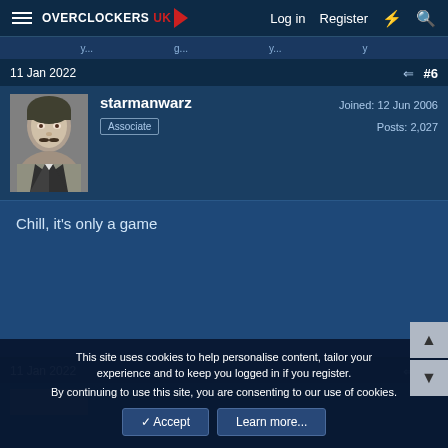OVERCLOCKERS UK — Log in | Register
11 Jan 2022  #6
starmanwarz
Associate
Joined: 12 Jun 2006
Posts: 2,027
Chill, it's only a game
11 Jan 2022  #7
This site uses cookies to help personalise content, tailor your experience and to keep you logged in if you register.
By continuing to use this site, you are consenting to our use of cookies.
Accept | Learn more...